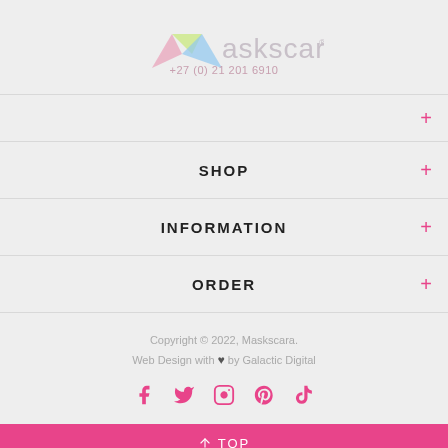[Figure (logo): Maskscara logo with colorful geometric M shape and text 'maskscara' with phone number +27 (0) 21 201 6910]
+ (blank nav item)
SHOP +
INFORMATION +
ORDER +
Copyright © 2022, Maskscara. Web Design with ♥ by Galactic Digital
[Figure (other): Social media icons: Facebook, Twitter, Instagram, Pinterest, TikTok]
↑ TOP